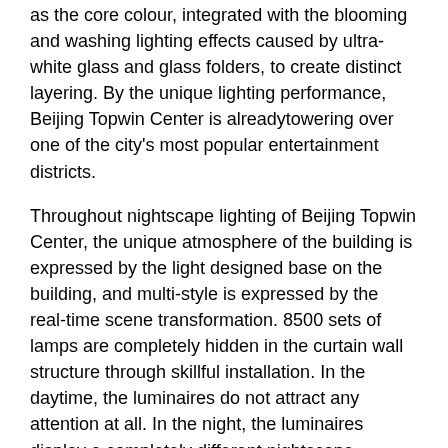as the core colour, integrated with the blooming and washing lighting effects caused by ultra-white glass and glass folders, to create distinct layering. By the unique lighting performance, Beijing Topwin Center is alreadytowering over one of the city's most popular entertainment districts.
Throughout nightscape lighting of Beijing Topwin Center, the unique atmosphere of the building is expressed by the light designed base on the building, and multi-style is expressed by the real-time scene transformation. 8500 sets of lamps are completely hidden in the curtain wall structure through skillful installation. In the daytime, the luminaires do not attract any attention at all. In the night, the luminaires display a completely different nightscape posture, through different color and content change patterns. Through the control of types and saturation of the color, a natural and integrated lighting effect is presented ultimately, being quiet and elegant. The nightscape adds unlimited rich expression for the busy street, Sanlitun.
http://www.haoersai.com/Index/case_detail?l_id=100